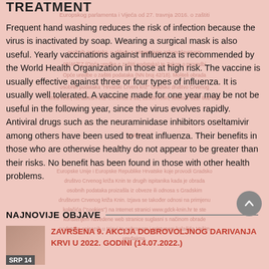TREATMENT
Europskog parlamenta i Vijeća od 27. travnja 2016. o zaštiti
Frequent hand washing reduces the risk of infection because the virus is inactivated by soap. Wearing a surgical mask is also useful. Yearly vaccinations against influenza is recommended by the World Health Organization in those at high risk. The vaccine is usually effective against three or four types of influenza. It is usually well tolerated. A vaccine made for one year may be not be useful in the following year, since the virus evolves rapidly. Antiviral drugs such as the neuraminidase inhibitors oseltamivir among others have been used to treat influenza. Their benefits in those who are otherwise healthy do not appear to be greater than their risks. No benefit has been found in those with other health problems.
NAJNOVIJE OBJAVE
ZAVRŠENA 9. AKCIJA DOBROVOLJNOG DARIVANJA KRVI U 2022. GODINI (14.07.2022.)